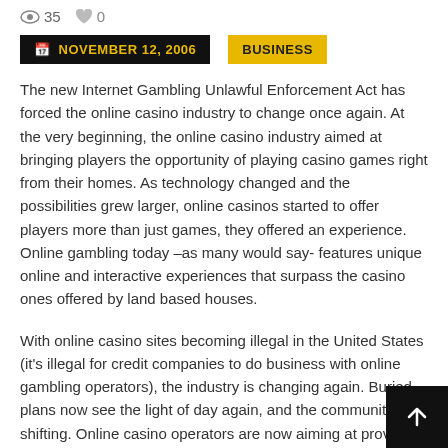35  0
NOVEMBER 12, 2006   BUSINESS
The new Internet Gambling Unlawful Enforcement Act has forced the online casino industry to change once again. At the very beginning, the online casino industry aimed at bringing players the opportunity of playing casino games right from their homes. As technology changed and the possibilities grew larger, online casinos started to offer players more than just games, they offered an experience. Online gambling today –as many would say- features unique online and interactive experiences that surpass the casino ones offered by land based houses.
With online casino sites becoming illegal in the United States (it's illegal for credit companies to do business with online gambling operators), the industry is changing again. Buried plans now see the light of day again, and the community is shifting. Online casino operators are now aiming at providing a global experience to various markets. Online casino gambling is already accepted by most players, as just another form of home entertainment, and operators seek to expand this very experience to other markets.